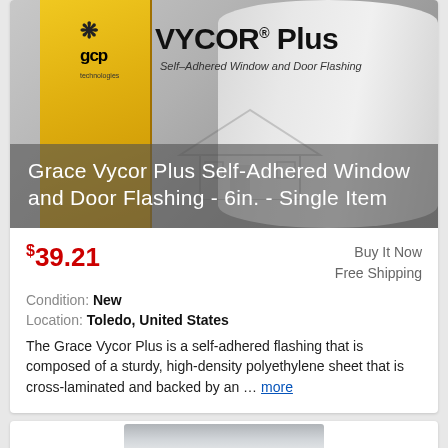[Figure (photo): Product photo of GCP VYCOR Plus Self-Adhered Window and Door Flashing roll with yellow packaging]
Grace Vycor Plus Self-Adhered Window and Door Flashing - 6in. - Single Item
$39.21 | Buy It Now | Free Shipping
Condition: New
Location: Toledo, United States
The Grace Vycor Plus is a self-adhered flashing that is composed of a sturdy, high-density polyethylene sheet that is cross-laminated and backed by an ... more
[Figure (photo): Partially visible product image at the bottom of the page]